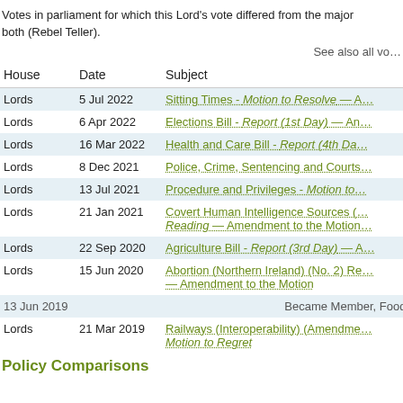Votes in parliament for which this Lord's vote differed from the majority of their party, or abstained when their party voted, or was a teller for a division in both (Rebel Teller).
See also all vo...
| House | Date | Subject |
| --- | --- | --- |
| Lords | 5 Jul 2022 | Sitting Times - Motion to Resolve — A... |
| Lords | 6 Apr 2022 | Elections Bill - Report (1st Day) — An... |
| Lords | 16 Mar 2022 | Health and Care Bill - Report (4th Da... |
| Lords | 8 Dec 2021 | Police, Crime, Sentencing and Courts... |
| Lords | 13 Jul 2021 | Procedure and Privileges - Motion to... |
| Lords | 21 Jan 2021 | Covert Human Intelligence Sources (... Reading — Amendment to the Motion... |
| Lords | 22 Sep 2020 | Agriculture Bill - Report (3rd Day) — A... |
| Lords | 15 Jun 2020 | Abortion (Northern Ireland) (No. 2) Re... — Amendment to the Motion |
|  | 13 Jun 2019 | Became Member, Food,... |
| Lords | 21 Mar 2019 | Railways (Interoperability) (Amendme... Motion to Regret |
Policy Comparisons